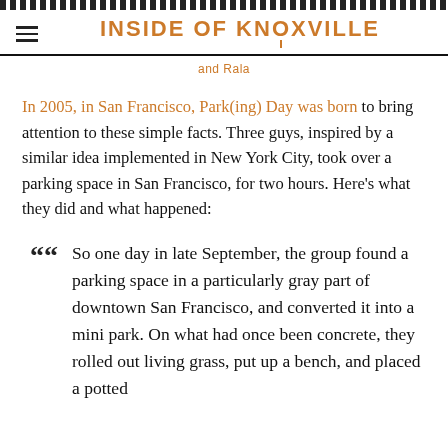INSIDE OF KNOXVILLE
and Rala
In 2005, in San Francisco, Park(ing) Day was born to bring attention to these simple facts. Three guys, inspired by a similar idea implemented in New York City, took over a parking space in San Francisco, for two hours. Here's what they did and what happened:
So one day in late September, the group found a parking space in a particularly gray part of downtown San Francisco, and converted it into a mini park. On what had once been concrete, they rolled out living grass, put up a bench, and placed a potted